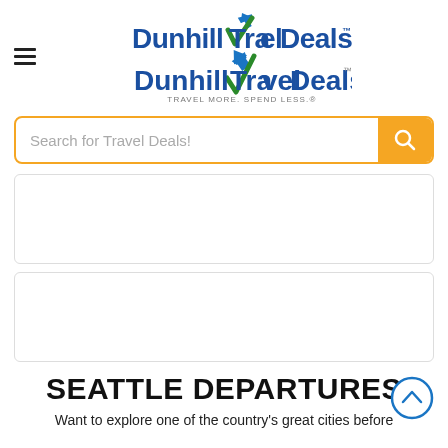[Figure (logo): DunhillTravelDeals logo with airplane icon, green checkmark V, blue text, tagline TRAVEL MORE. SPEND LESS.]
[Figure (screenshot): Search bar with placeholder text 'Search for Travel Deals!' and orange search button]
[Figure (other): Empty advertisement box 1 with light gray border]
[Figure (other): Empty advertisement box 2 with light gray border]
SEATTLE DEPARTURES
Want to explore one of the country's great cities before